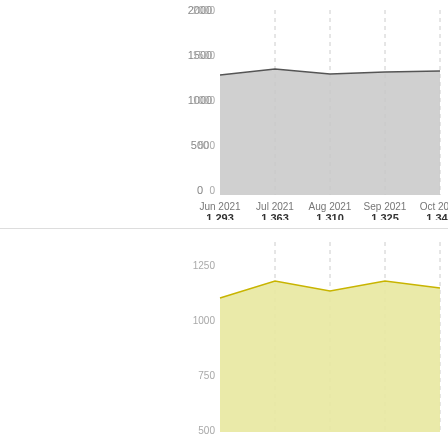[Figure (area-chart): Top chart (gray area)]
[Figure (area-chart): Bottom chart (yellow area)]